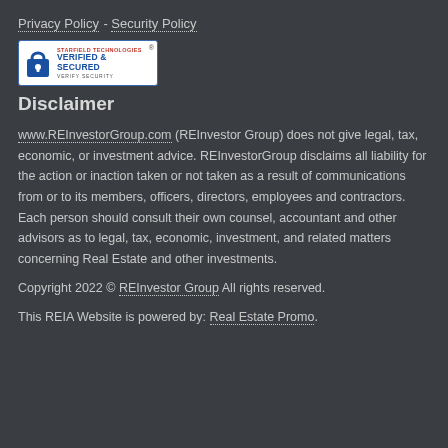Privacy Policy  -  Security Policy
[Figure (logo): Starfield Technologies Verified & Secured badge with padlock icon]
Disclaimer
www.REInvestorGroup.com  (REInvestor Group) does not give legal, tax, economic, or investment advice. REInvestorGroup disclaims all liability for the action or inaction taken or not taken as a result of communications from or to its members, officers, directors, employees and contractors. Each person should consult their own counsel, accountant and other advisors as to legal, tax, economic, investment, and related matters concerning Real Estate and other investments.
Copyright 2022 © REInvestor Group  All rights reserved.
This REIA Website is powered by:  Real Estate Promo.